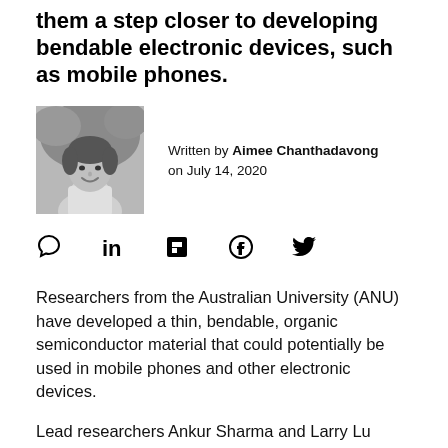them a step closer to developing bendable electronic devices, such as mobile phones.
[Figure (photo): Black and white portrait photo of Aimee Chanthadavong, the article author, smiling outdoors.]
Written by Aimee Chanthadavong on July 14, 2020
[Figure (infographic): Social sharing icons: comment bubble, LinkedIn, Flipboard, Facebook, Twitter]
Researchers from the Australian University (ANU) have developed a thin, bendable, organic semiconductor material that could potentially be used in mobile phones and other electronic devices.
Lead researchers Ankur Sharma and Larry Lu explained how the semiconductor would be used